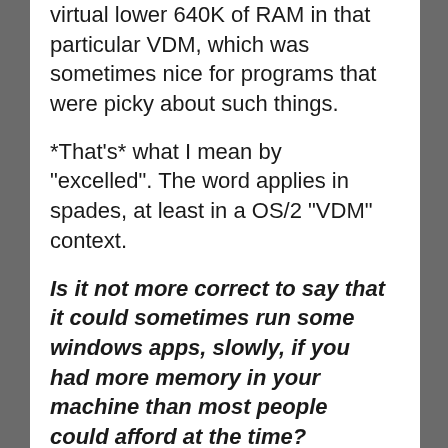virtual lower 640K of RAM in that particular VDM, which was sometimes nice for programs that were picky about such things.
*That's* what I mean by "excelled". The word applies in spades, at least in a OS/2 "VDM" context.
Is it not more correct to say that it could sometimes run some windows apps, slowly, if you had more memory in your machine than most people could afford at the time?
No, that wouldn't be a